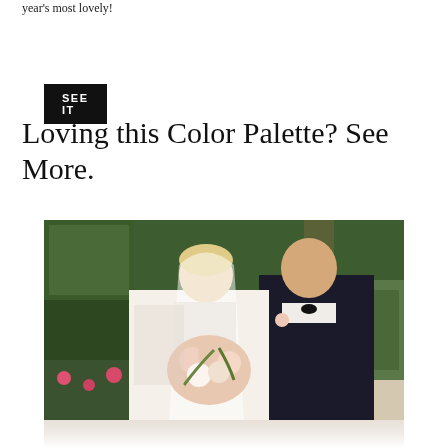year's most lovely!
SEE IT
Loving this Color Palette? See More.
[Figure (photo): Wedding couple portrait outdoors: bride in white strapless gown with veil holding large blush and white floral bouquet, groom in black tuxedo with bow tie and boutonniere, greenery/hedge background with pink roses]
[Figure (photo): Bottom partial view of bride in white dress, partially visible]